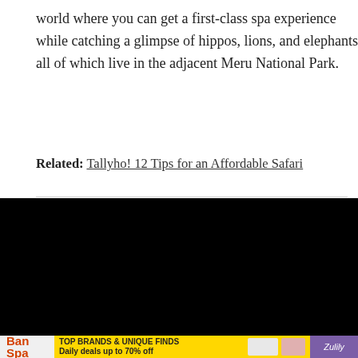world where you can get a first-class spa experience while catching a glimpse of hippos, lions, and elephants, all of which live in the adjacent Meru National Park.
Related: Tallyho! 12 Tips for an Affordable Safari
[Figure (photo): Slideshow image showing trees against blue sky, slide 9 of 31, with Pinterest share button]
[Figure (screenshot): Video ad overlay showing a sandwich being held, with text 'Up Next - Video of the Day: - How to Make the Perfect Classic BLT']
[Figure (screenshot): Banner advertisement: Ban Spa with yellow Zulily ad showing TOP BRANDS & UNIQUE FINDS, Daily deals up to 70% off]